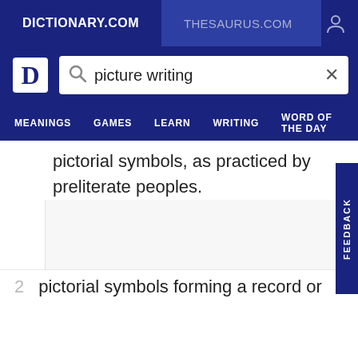DICTIONARY.COM   THESAURUS.COM
[Figure (screenshot): Dictionary.com search bar with query 'picture writing']
pictorial symbols, as practiced by preliterate peoples.
2  pictorial symbols forming a record or